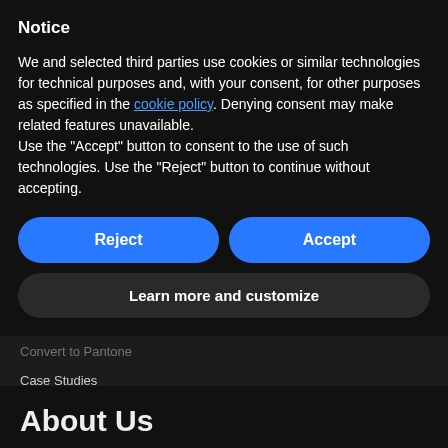Notice
We and selected third parties use cookies or similar technologies for technical purposes and, with your consent, for other purposes as specified in the cookie policy. Denying consent may make related features unavailable.
Use the "Accept" button to consent to the use of such technologies. Use the "Reject" button to continue without accepting.
Reject
Accept
Learn more and customize
Convert to Pantone
Case Studies
Blog
About Us